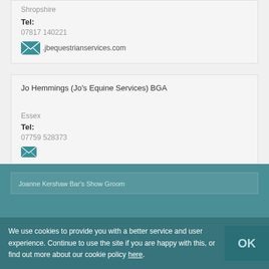Shropshire
Tel: 07817 140221
.jbequestrianservices.com
Jo Hemmings (Jo's Equine Services) BGA
Essex
Tel: 07759 528373
Joanne Kershaw Bar's Show Groom
We use cookies to provide you with a better service and user experience. Continue to use the site if you are happy with this, or find out more about our cookie policy here. OK
BACK TO TOP